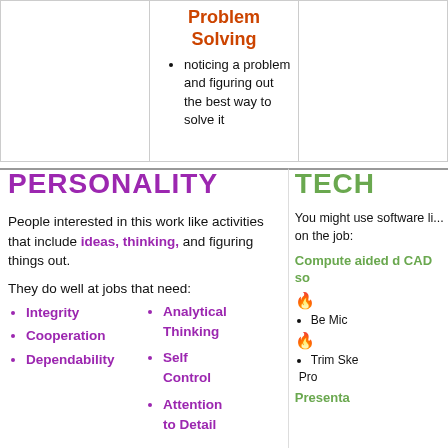|  | Problem Solving |  |
| --- | --- | --- |
|  | noticing a problem and figuring out the best way to solve it |  |
PERSONALITY
People interested in this work like activities that include ideas, thinking, and figuring things out.
They do well at jobs that need:
Integrity
Cooperation
Dependability
Analytical Thinking
Self Control
Attention to Detail
TECH
You might use software like... on the job:
Computer aided design CAD software
Bentley MicroStation
Trimble SketchUp Pro
Presentation